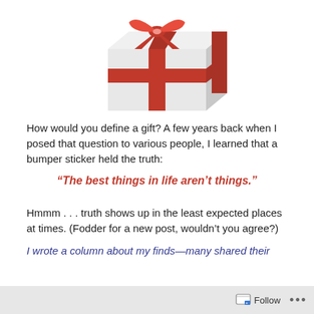[Figure (illustration): A white gift box with red ribbon and bow, partially cropped at the top of the page]
How would you define a gift? A few years back when I posed that question to various people, I learned that a bumper sticker held the truth:
“The best things in life aren’t things.”
Hmmm . . . truth shows up in the least expected places at times. (Fodder for a new post, wouldn’t you agree?)
I wrote a column about my finds—many shared their